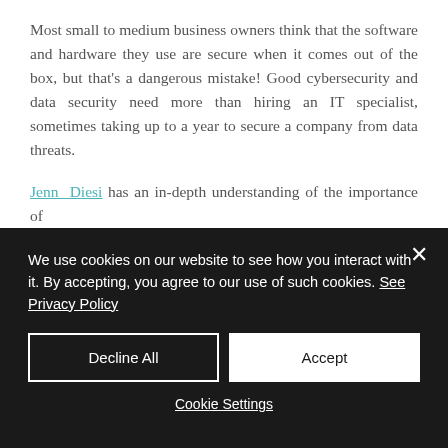Most small to medium business owners think that the software and hardware they use are secure when it comes out of the box, but that's a dangerous mistake! Good cybersecurity and data security need more than hiring an IT specialist, sometimes taking up to a year to secure a company from data threats.
Jenn Diesi has an in-depth understanding of the importance of
We use cookies on our website to see how you interact with it. By accepting, you agree to our use of such cookies. See Privacy Policy
Decline All
Accept
Cookie Settings